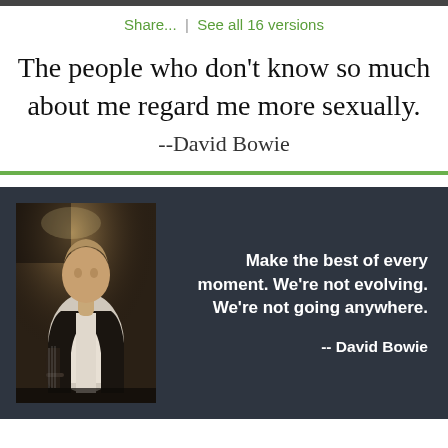Share...  |  See all 16 versions
The people who don't know so much about me regard me more sexually.
--David Bowie
[Figure (photo): Dark background card with a photo of David Bowie performing on stage holding a guitar, wearing a white shirt, with stage lighting. Beside the photo on the right: quote text in bold white.]
Make the best of every moment. We're not evolving. We're not going anywhere.
-- David Bowie